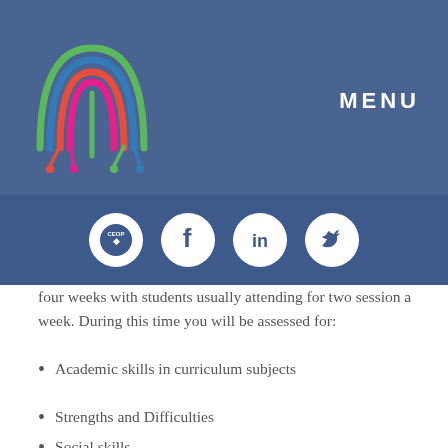[Figure (logo): Colorful fingerprint/rainbow arc logo with circuit-like lines in red, green, blue, pink]
MENU
[Figure (infographic): Social icons bar: CEOP logo, Facebook, LinkedIn, Twitter in white circles on dark blue background]
four weeks with students usually attending for two session a week. During this time you will be assessed for:
Academic skills in curriculum subjects
Strengths and Difficulties
Social skills